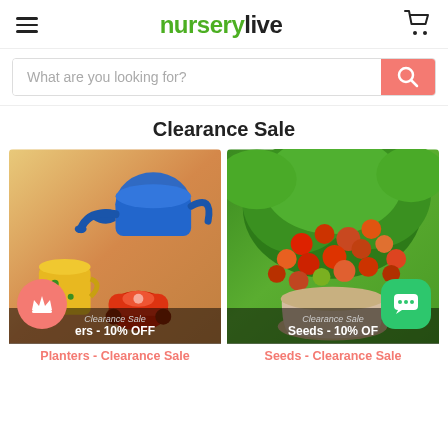nurserylive
What are you looking for?
Clearance Sale
[Figure (photo): Clearance Sale product image showing colorful planters and watering can - Planters 10% OFF]
Planters - Clearance Sale
[Figure (photo): Clearance Sale product image showing cherry tomato plant in pot - Seeds 10% OFF]
Seeds - Clearance Sale